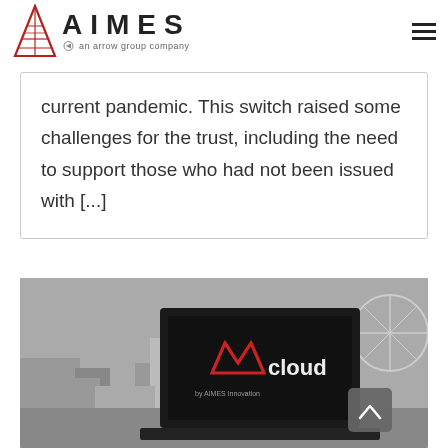AIMES – an arrow group company
current pandemic. This switch raised some challenges for the trust, including the need to support those who had not been issued with [...]
[Figure (photo): Black and white cityscape photo with a laptop in the foreground showing the Mcloud by AIMES Innovation logo on screen. A scroll-to-top button is visible over the image.]